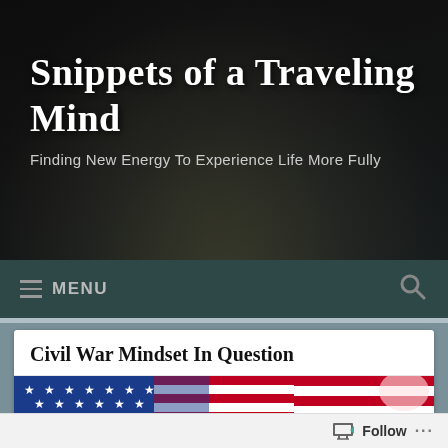Snippets of a Traveling Mind
Finding New Energy To Experience Life More Fully
MENU
Civil War Mindset In Question
[Figure (photo): American flags photograph — blue field with white stars and red/white stripes, torn or waving pieces against white background]
Follow